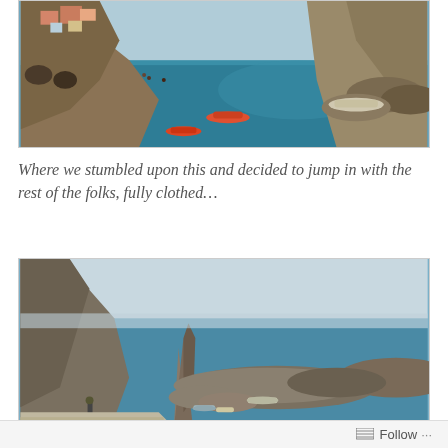[Figure (photo): Aerial view of a Cinque Terre coastal village (likely Manarola or Riomaggiore) with colorful buildings built into rocky cliffs, a small harbor with boats on deep blue-teal water, and a rocky breakwater.]
Where we stumbled upon this and decided to jump in with the rest of the folks, fully clothed...
[Figure (photo): View of a rocky breakwater/jetty in a Cinque Terre coastal cove with small boats moored in calm blue water, rocky cliffs on the left, and a clear sky above the Mediterranean sea.]
Follow ...